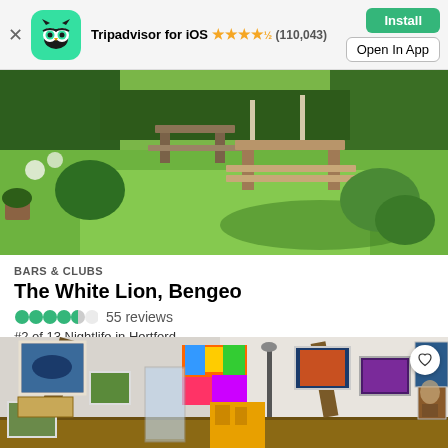[Figure (screenshot): Tripadvisor app banner with owl logo, star rating (110,043 reviews), Install and Open In App buttons]
[Figure (photo): Outdoor garden/pub area with green lawn, picnic tables, hedges and trees]
BARS & CLUBS
The White Lion, Bengeo
55 reviews
#2 of 13 Nightlife in Hertford
[Figure (photo): Interior of an art gallery showing colorful paintings on white walls with exposed wooden beams]